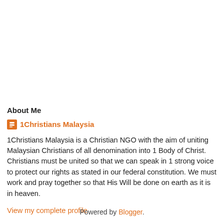About Me
1Christians Malaysia
1Christians Malaysia is a Christian NGO with the aim of uniting Malaysian Christians of all denomination into 1 Body of Christ. Christians must be united so that we can speak in 1 strong voice to protect our rights as stated in our federal constitution. We must work and pray together so that His Will be done on earth as it is in heaven.
View my complete profile
Powered by Blogger.